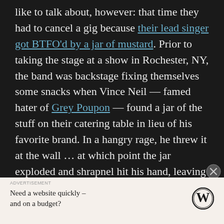like to talk about, however: that time they had to cancel a gig because their lead singer got BTFO'd by a jar of mustard. Prior to taking the stage at a show in Rochester, NY, the band was backstage fixing themselves some snacks when Vince Neil — famed hater of Grey Poupon — found a jar of the stuff on their catering table in lieu of his favorite brand. In a hangry rage, he threw it at the wall … at which point the jar exploded and shrapnel hit his hand, leaving him no choice but to run to the hospital before the hated Poupon could flavor his very bloodstream.
ADVERTISEMENT
Need a website quickly – and on a budget?